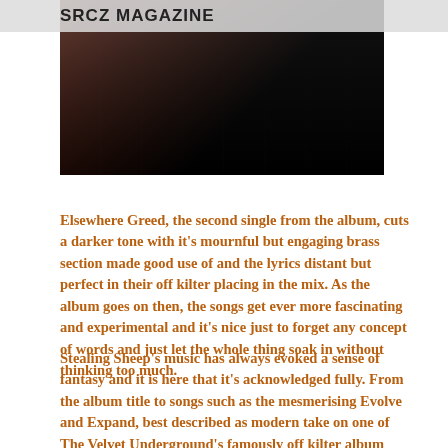SRCZ MAGAZINE
[Figure (photo): Dark concert or performance photo with figures visible, partially cropped, against a dark background with reddish-brown tones]
Elsewhere Greed, the second single from the album, cuts a darker tone with it’s mournful but engaging brass section made good use of and the lyrics distant but perfect in their off kilter placing in the mix. As the album goes on then, the songs get ever more fascinating and experimental and it’s nice just to forget any concept of words and just let the whole thing soak in without thinking too much.
Stealing Sheep’s music has always evoked a sense of fantasy and it is here that it’s acknowledged fully. From the album title to songs such as the mesmerising Evolve and Expand, best described as modern take on one of The Velvet Underground’s famously off kilter album